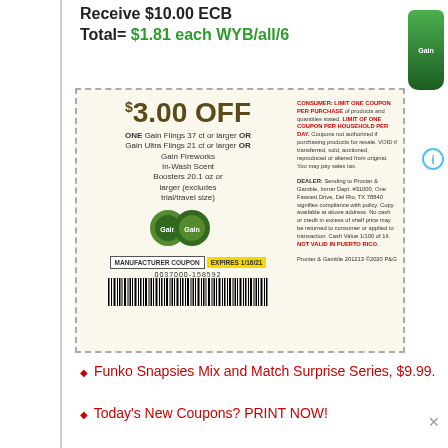Receive $10.00 ECB
Total= $1.81 each WYB/all/6
[Figure (other): Manufacturer coupon for $3.00 OFF ONE Gain Flings 37 ct or larger OR Gain Ultra Flings 21 ct or larger OR Gain Fireworks In-Wash Scent Boosters 20.1 oz or larger (excludes trial/travel size). EXPIRES 1/16/21. Barcode: 0037000-158592.]
Funko Snapsies Mix and Match Surprise Series, $9.99.
Today's New Coupons? PRINT NOW!